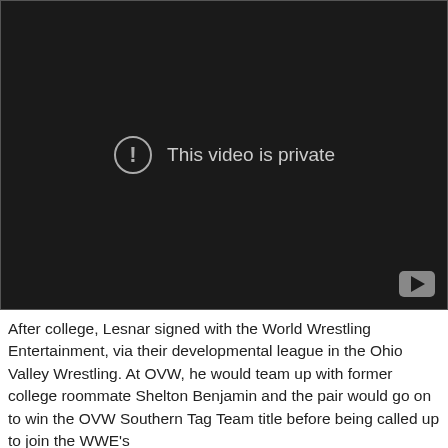[Figure (screenshot): YouTube video player showing 'This video is private' message with exclamation icon on dark background, YouTube logo in bottom right corner.]
After college, Lesnar signed with the World Wrestling Entertainment, via their developmental league in the Ohio Valley Wrestling. At OVW, he would team up with former college roommate Shelton Benjamin and the pair would go on to win the OVW Southern Tag Team title before being called up to join the WWE's